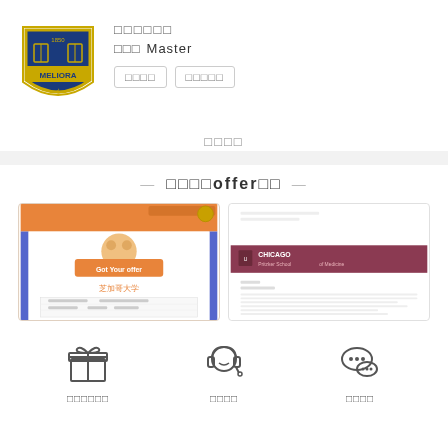[Figure (logo): University of Rochester MELIORA shield logo with blue and gold colors, 1850 text at top]
□□□□□□
□□□  Master
□□□□  □□□□□
□□□□
□□□□offer□□
[Figure (illustration): Left card showing a Chinese offer letter graphic with orange banner and bear mascot, university name in Chinese]
[Figure (screenshot): Right card showing University of Chicago Pritzker School of Medicine offer/acceptance letter]
[Figure (illustration): Gift box icon]
□□□□□□
[Figure (illustration): Headset/customer service icon]
□□□□
[Figure (illustration): WeChat icon]
□□□□